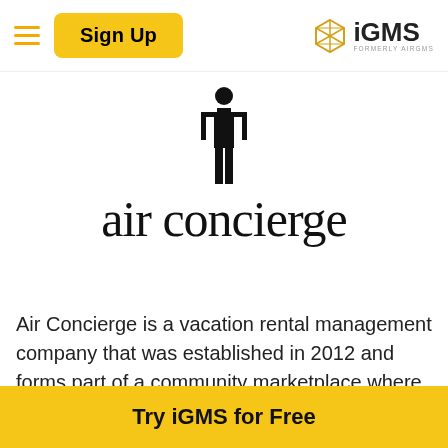[Figure (logo): iGMS logo with geometric diamond shape icon and text 'iGMS formerly AIRGMS']
[Figure (logo): Air Concierge logo with a black butler/concierge figure icon above the text 'air concierge' in Georgia serif font]
Air Concierge is a vacation rental management company that was established in 2012 and forms part of a community marketplace where homeowners with
[Figure (other): Yellow 'Try iGMS for Free' call-to-action button bar at the bottom of the page]